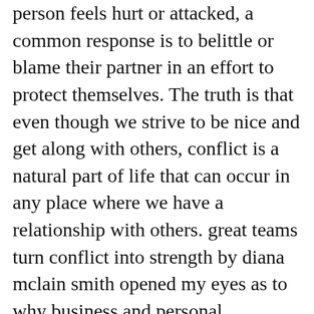person feels hurt or attacked, a common response is to belittle or blame their partner in an effort to protect themselves. The truth is that even though we strive to be nice and get along with others, conflict is a natural part of life that can occur in any place where we have a relationship with others. great teams turn conflict into strength by diana mclain smith opened my eyes as to why business and personal relationships can start out so strong and then seemingly self destruct for no reason once you understand the structure and pattern of this event you can start to take steps to correct it divide or conquer how great teams turn conflict into divide or conquer how divide or conquer how great teams ... This type of conflict is necessary. #2 Conflict can turn into opportunity. Find it out in the free FairChange eBook: 7 Steps to turn conflict risk into